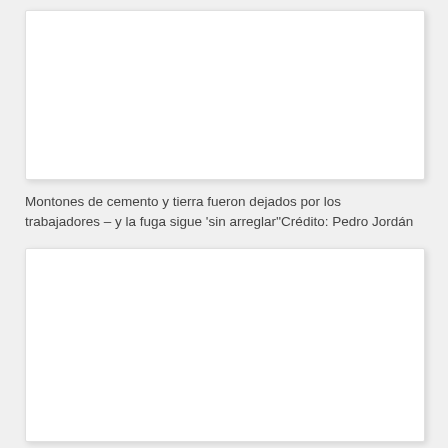[Figure (photo): White rectangular image box (photo placeholder), top of page]
Montones de cemento y tierra fueron dejados por los trabajadores – y la fuga sigue 'sin arreglar''Crédito: Pedro Jordán
[Figure (photo): White rectangular image box (photo placeholder), bottom of page]